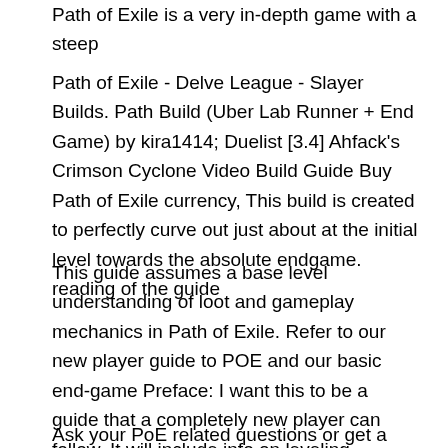Path of Exile is a very in-depth game with a steep
Path of Exile - Delve League - Slayer Builds. Path Build (Uber Lab Runner + End Game) by kira1414; Duelist [3.4] Ahfack's Crimson Cyclone Video Build Guide Buy Path of Exile currency, This build is created to perfectly curve out just about at the initial level towards the absolute endgame. reading of the guide
This guide assumes a base level understanding of loot and gameplay mechanics in Path of Exile. Refer to our new player guide to POE and our basic end-game Preface: I want this to be a guide that a completely new player can follow. It will include info on leveling, gearing, skills, and most efficient way to progress
Ask your PoE related questions or get a build review at my